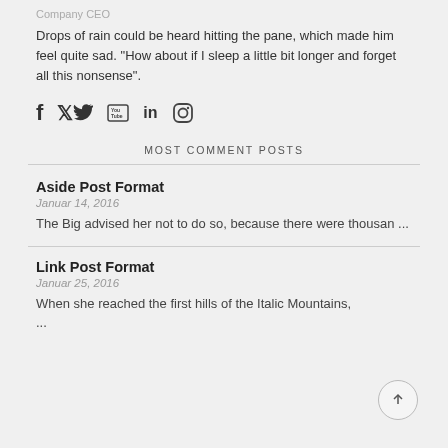Company CEO
Drops of rain could be heard hitting the pane, which made him feel quite sad. "How about if I sleep a little bit longer and forget all this nonsense".
[Figure (infographic): Social media icons: Facebook, Twitter, YouTube, LinkedIn, Instagram]
MOST COMMENT POSTS
Aside Post Format
Januar 14, 2016
The Big advised her not to do so, because there were thousan ...
Link Post Format
Januar 25, 2016
When she reached the first hills of the Italic Mountains, ...